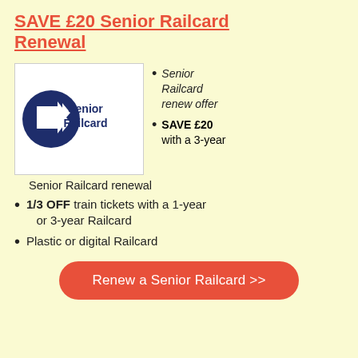SAVE £20 Senior Railcard Renewal
[Figure (logo): Senior Railcard logo: dark navy circle with white British Rail double-arrow symbol on the left, and 'Senior Railcard' text in dark navy on the right, on a white background.]
Senior Railcard renew offer
SAVE £20 with a 3-year Senior Railcard renewal
1/3 OFF train tickets with a 1-year or 3-year Railcard
Plastic or digital Railcard
Renew a Senior Railcard >>